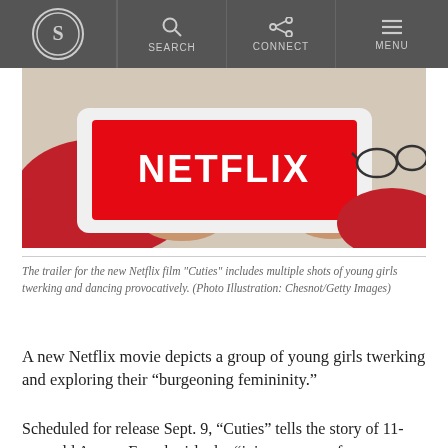S [logo] | SEARCH | CONNECT | MENU
[Figure (photo): Child in red sweater holding a tablet displaying the Netflix logo (red background, white NETFLIX text). Glasses visible on table in background.]
The trailer for the new Netflix film "Cuties" includes multiple shots of young girls twerking and dancing provocatively. (Photo Illustration: Chesnot/Getty Images)
A new Netflix movie depicts a group of young girls twerking and exploring their “burgeoning femininity.”
Scheduled for release Sept. 9, “Cuties” tells the story of 11-year-old Amy, a French girl who “joins a group of